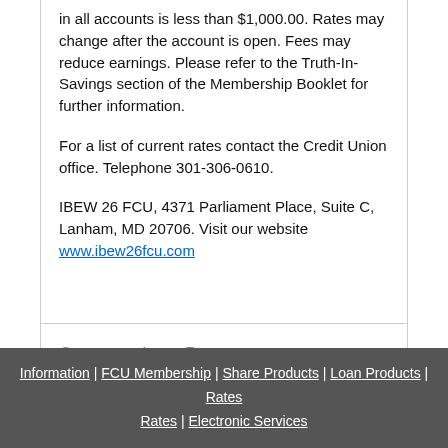defaults to $3/month if cumulative balance in all accounts is less than $1,000.00. Rates may change after the account is open. Fees may reduce earnings. Please refer to the Truth-In-Savings section of the Membership Booklet for further information.

For a list of current rates contact the Credit Union office. Telephone 301-306-0610.

IBEW 26 FCU, 4371 Parliament Place, Suite C, Lanham, MD 20706. Visit our website www.ibew26fcu.com
Consumer Loan Rates
Information | FCU Membership | Share Products | Loan Products | Rates | Electronic Services